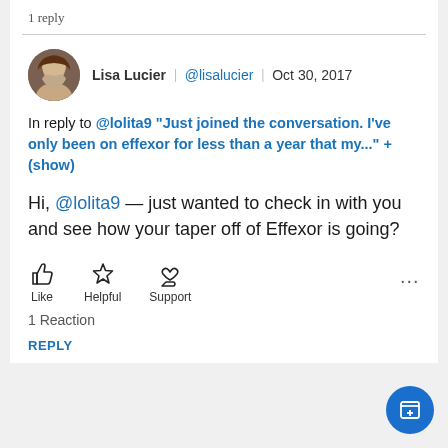1 reply
Lisa Lucier  |  @lisalucier  |  Oct 30, 2017
In reply to @lolita9 "Just joined the conversation. I've only been on effexor for less than a year that my..." + (show)
Hi, @lolita9 — just wanted to check in with you and see how your taper off of Effexor is going?
Like   Helpful   Support
1 Reaction
REPLY